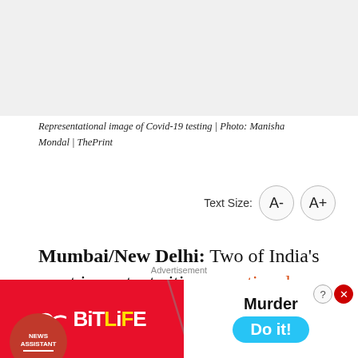[Figure (photo): Representational image of Covid-19 testing (white/light area shown at top)]
Representational image of Covid-19 testing | Photo: Manisha Mondal | ThePrint
Text Size: A- A+
Mumbai/New Delhi: Two of India's most important cities — national capital Delhi and financial capital Mumbai — have borne the brunt of the Covid-19 pandemic, with both registering over 1 lakh coronavirus cases. But what sets them apart is their approach towards data.
Whil
[Figure (screenshot): BitLife advertisement banner: red background with BitLife logo and Murder Do it! call to action on blue button]